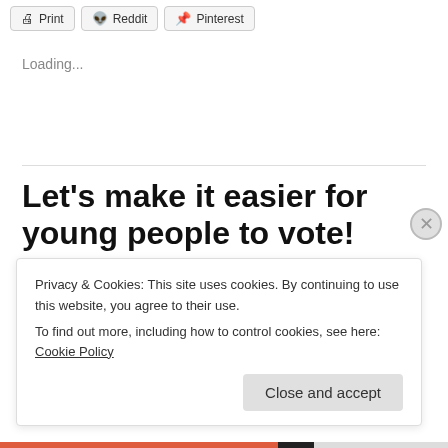[Figure (screenshot): Toolbar with Print, Reddit, and Pinterest share buttons]
Loading...
May 27, 2014
Let's make it easier for young people to vote!
4.5 stars, 6 Votes
Privacy & Cookies: This site uses cookies. By continuing to use this website, you agree to their use.
To find out more, including how to control cookies, see here: Cookie Policy
Close and accept